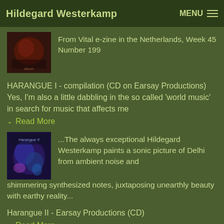Hildegard Westerkamp | MENU
[Figure (photo): Album cover thumbnail, dark reddish tones]
From Vital e-zine in the Netherlands, Week 45 Number 199
HARANGUE I - compilation (CD on Earsay Productions) Yes, I'm also a little dabbling in the so called 'world music' in search for music that affects me
Read More
[Figure (photo): Album cover for Harangue II, colorful blue/purple tones]
...The always exceptional Hildegard Westerkamp paints a sonic picture of Delhi from ambient noise and shimmering synthesized notes, juxtaposing unearthly beauty with earthy reality...
Harangue II - Earsay Productions (CD)
Read More